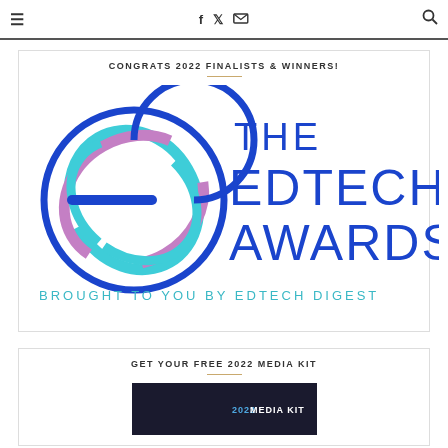≡  f  𝕏  ✉  🔍
CONGRATS 2022 FINALISTS & WINNERS!
[Figure (logo): The EdTech Awards logo — a circular blue/teal/purple overlapping rings emblem on the left, with 'THE EDTECH AWARDS' in large blue sans-serif text on the right, and 'BROUGHT TO YOU BY EDTECH DIGEST' in smaller teal text below.]
GET YOUR FREE 2022 MEDIA KIT
[Figure (screenshot): Partial thumbnail of the 2022 Media Kit document with dark background and '2022 MEDIA KIT' text visible.]